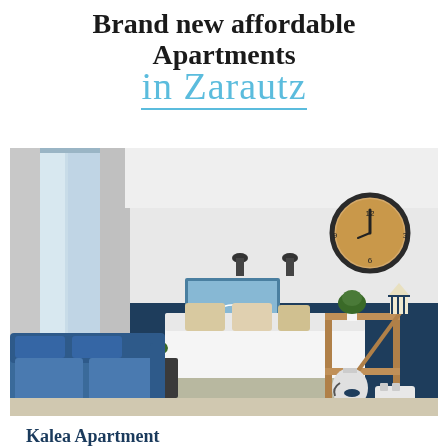Brand new affordable Apartments in Zarautz
[Figure (photo): Interior of a modern apartment room showing a blue sofa in the foreground, a bed with pillows in the center, a wooden shelving unit with a kettle and toaster, a wall clock, wall sconces, and a TV on a navy blue accent wall. Large window with grey curtains on the left.]
Kalea Apartment